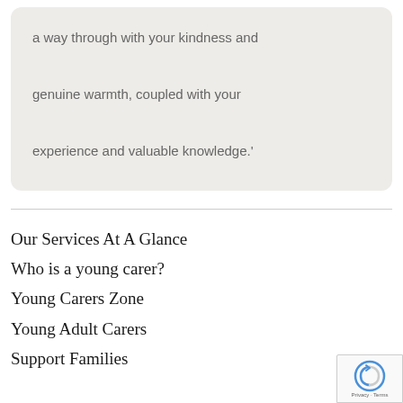a way through with your kindness and genuine warmth, coupled with your experience and valuable knowledge.'
Our Services At A Glance
Who is a young carer?
Young Carers Zone
Young Adult Carers
Support Families